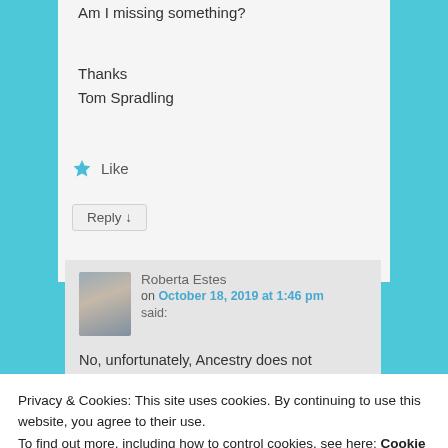Am I missing something?
Thanks
Tom Spradling
Like
Reply ↓
Roberta Estes
on October 18, 2019 at 1:46 pm
said:

No, unfortunately, Ancestry does not
Privacy & Cookies: This site uses cookies. By continuing to use this website, you agree to their use.
To find out more, including how to control cookies, see here: Cookie Policy
Close and accept